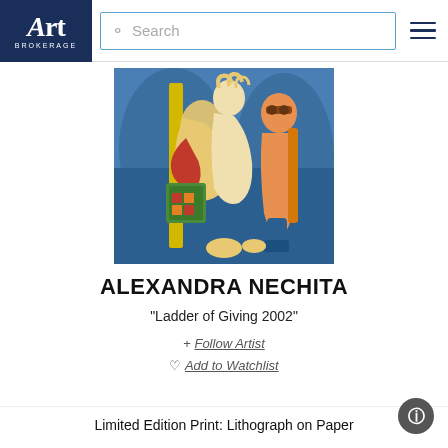Art Brokerage — Search bar — Navigation
[Figure (illustration): Colorful cubist-style painting showing stylized human figures in blue, yellow, orange, red and green tones — the artwork Ladder of Giving 2002 by Alexandra Nechita]
ALEXANDRA NECHITA
"Ladder of Giving 2002"
+ Follow Artist
Add to Watchlist
Limited Edition Print: Lithograph on Paper